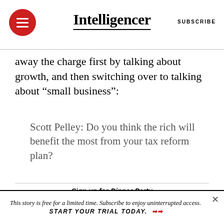Intelligencer | SUBSCRIBE
away the charge first by talking about growth, and then switching over to talking about “small business”:
Scott Pelley: Do you think the rich will benefit the most from your tax reform plan?
Sign up for Dinner Party
A lively evening newsletter about everything that just happened.
This story is free for a limited time. Subscribe to enjoy uninterrupted access. START YOUR TRIAL TODAY.